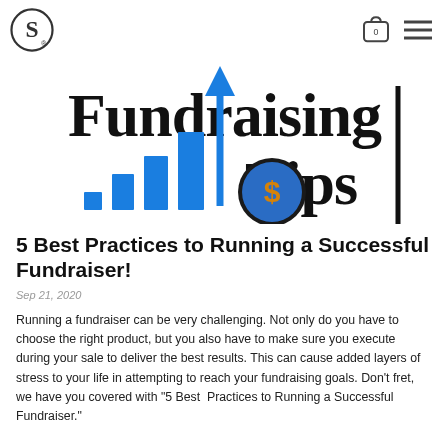S [logo] | [cart icon 0] [menu icon]
[Figure (illustration): Fundraising Tips header graphic with blue bar chart with upward arrow and a coin with dollar sign, and large bold text reading 'Fundraising Tips' with a vertical black bar on the right.]
5 Best Practices to Running a Successful Fundraiser!
Sep 21, 2020
Running a fundraiser can be very challenging. Not only do you have to choose the right product, but you also have to make sure you execute during your sale to deliver the best results. This can cause added layers of stress to your life in attempting to reach your fundraising goals. Don't fret, we have you covered with "5 Best Practices to Running a Successful Fundraiser."